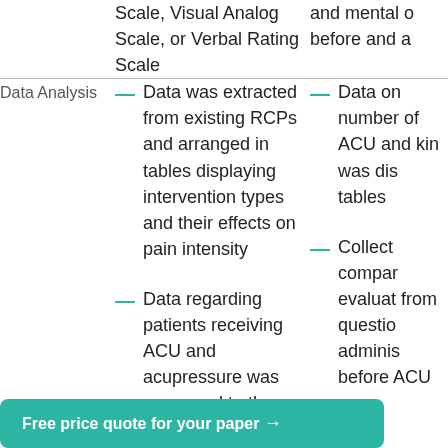|  | Column 2 (partial) | Column 3 (partial) |
| --- | --- | --- |
|  | Scale, Visual Analog Scale, or Verbal Rating Scale | and mental o before and a |
| Data Analysis | — Data was extracted from existing RCPs and arranged in tables displaying intervention types and their effects on pain intensity
— Data regarding patients receiving ACU and acupressure was compared to the data from the... | — Data on number of ACU and kin was dis tables
— Collect compar evaluat from questio adminis before ACU |
Free price quote for your paper →